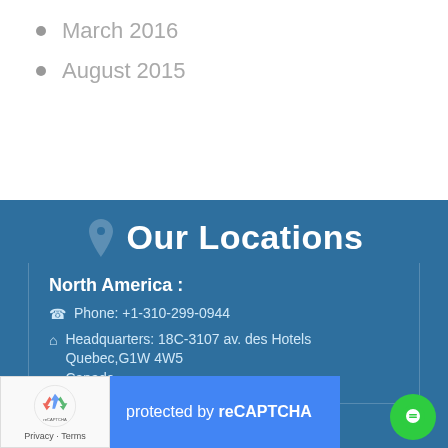March 2016
August 2015
Our Locations
North America :
Phone: +1-310-299-0944
Headquarters: 18C-3107 av. des Hotels Quebec,G1W 4W5 Canada
[Figure (other): reCAPTCHA widget overlay with logo box showing recycling arrow icon and Privacy/Terms links, blue box with 'protected by reCAPTCHA' text]
Branch: #56 Daly Street, Belize City